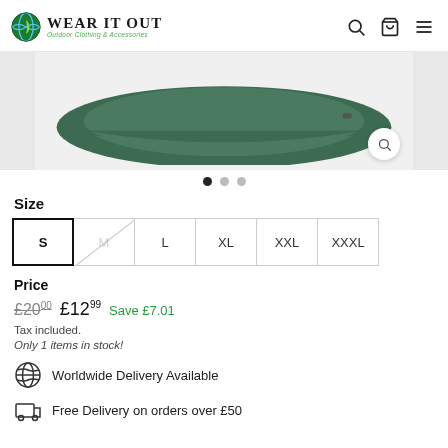[Figure (logo): Wear It Out logo with globe/leaf icon and tagline 'Outdoor Clothing & Accessories']
[Figure (photo): Dark green flat cap / bill brim product image on light grey background with zoom icon]
● ● ●
Size
S  M  L  XL  XXL  XXXL
Price
£20.00  £12.99  Save £7.01
Tax included.
Only 1 items in stock!
Worldwide Delivery Available
Free Delivery on orders over £50